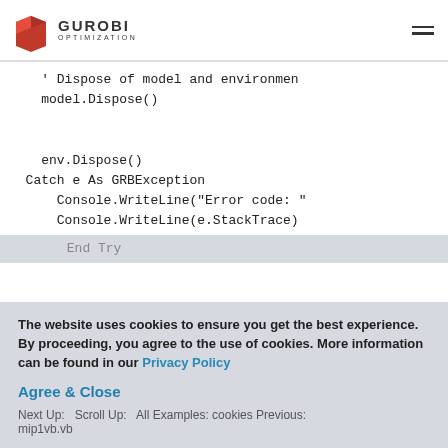GUROBI OPTIMIZATION
' Dispose of model and environment
    model.Dispose()

    env.Dispose()
  Catch e As GRBException
      Console.WriteLine("Error code: "
      Console.WriteLine(e.StackTrace)
End Try
The website uses cookies to ensure you get the best experience. By proceeding, you agree to the use of cookies. More information can be found in our Privacy Policy
Agree & Close
Next Up: Scroll Up: All Examples: cookies Previous: mip1vb.vb